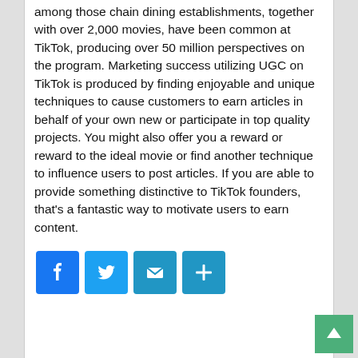among those chain dining establishments, together with over 2,000 movies, have been common at TikTok, producing over 50 million perspectives on the program. Marketing success utilizing UGC on TikTok is produced by finding enjoyable and unique techniques to cause customers to earn articles in behalf of your own new or participate in top quality projects. You might also offer you a reward or reward to the ideal movie or find another technique to influence users to post articles. If you are able to provide something distinctive to TikTok founders, that's a fantastic way to motivate users to earn content.
[Figure (infographic): Social sharing buttons: Facebook (blue), Twitter (light blue), Email (blue envelope), Share/More (blue plus sign), and a green back-to-top arrow button.]